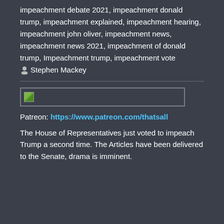impeachment debate 2021, impeachment donald trump, impeachment explained, impeachment hearing, impeachment john oliver, impeachment news, impeachment news 2021, impeachment of donald trump, Impeachment trump, impeachment vote   Stephen Mackey
[Figure (photo): Broken image placeholder thumbnail, wide rectangular box with small green image icon in top-left corner]
Patreon: https://www.patreon.com/thatsall
The House of Representatives just voted to impeach Trump a second time. The Articles have been delivered to the Senate, drama is imminent.